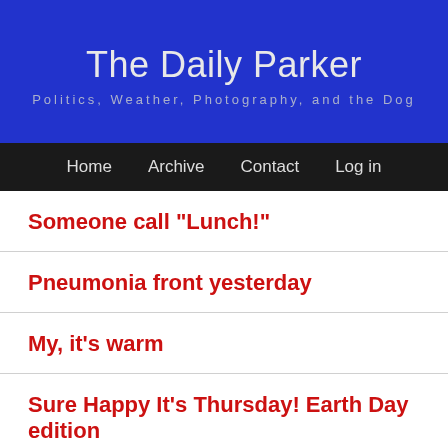The Daily Parker
Politics, Weather, Photography, and the Dog
Home  Archive  Contact  Log in
Someone call "Lunch!"
Pneumonia front yesterday
My, it's warm
Sure Happy It's Thursday! Earth Day edition
Thursday evening post